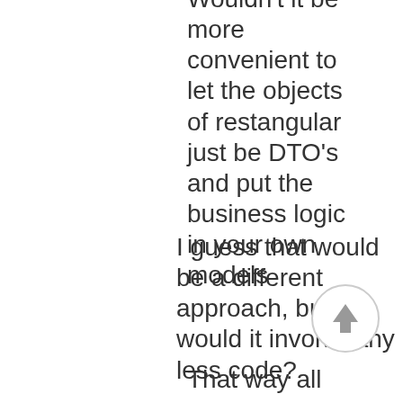Wouldn't it be more convenient to let the objects of restangular just be DTO's and put the business logic in your own models
I guess that would be a different approach, but would it involve any less code?
That way all